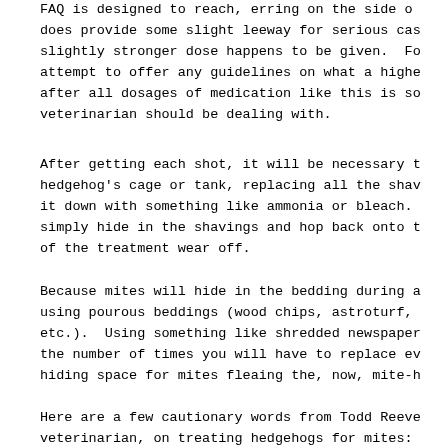FAQ is designed to reach, erring on the side o does provide some slight leeway for serious cas slightly stronger dose happens to be given. Fo attempt to offer any guidelines on what a highe after all dosages of medication like this is so veterinarian should be dealing with.
After getting each shot, it will be necessary t hedgehog's cage or tank, replacing all the shav it down with something like ammonia or bleach. simply hide in the shavings and hop back onto t of the treatment wear off.
Because mites will hide in the bedding during a using pourous beddings (wood chips, astroturf, etc.). Using something like shredded newspaper the number of times you will have to replace ev hiding space for mites fleaing the, now, mite-h
Here are a few cautionary words from Todd Reeve veterinarian, on treating hedgehogs for mites: